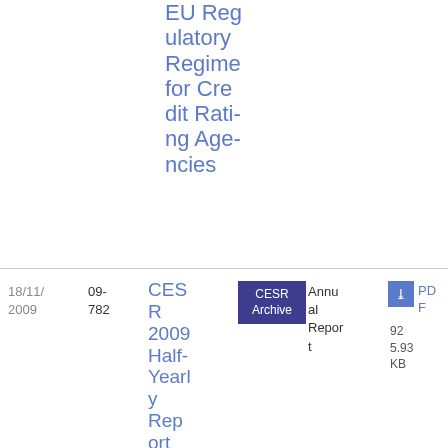EU Regulatory Regime for Credit Rating Agencies
| Date | Ref | Title | Archive | Type | File |
| --- | --- | --- | --- | --- | --- |
| 18/11/2009 | 09-782 | CESR 2009 Half-Yearly Report | CESR Archive | Annual Report | PDF 5.93 KB 92 |